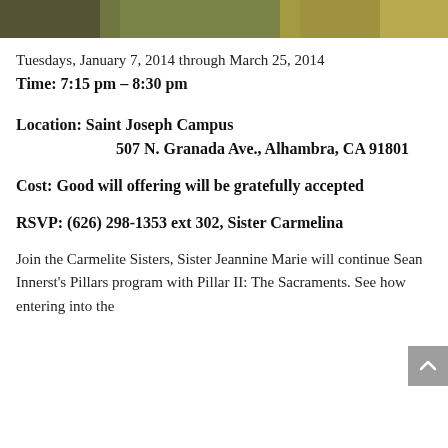[Figure (photo): Partial photo banner at top of page showing people or a scene, cropped]
Tuesdays, January 7, 2014 through March 25, 2014
Time: 7:15 pm – 8:30 pm
Location: Saint Joseph Campus
507 N. Granada Ave., Alhambra, CA 91801
Cost: Good will offering will be gratefully accepted
RSVP: (626) 298-1353 ext 302, Sister Carmelina
Join the Carmelite Sisters, Sister Jeannine Marie will continue Sean Innerst's Pillars program with Pillar II: The Sacraments. See how entering into the